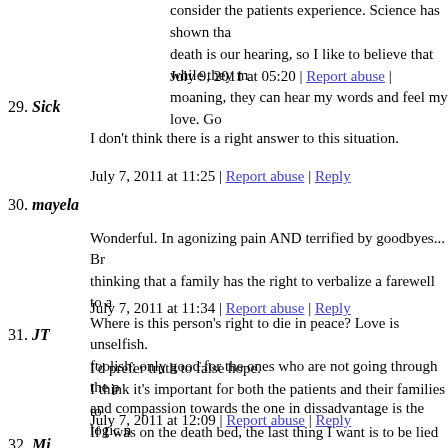consider the patients experience. Science has shown that the last sense to go before death is our hearing, so I like to believe that while they moaning, they can hear my words and feel my love. Go...
July 9, 2011 at 05:20 | Report abuse |
29. Sick
I don't think there is a right answer to this situation.
July 7, 2011 at 11:25 | Report abuse | Reply
30. mayela
Wonderful. In agonizing pain AND terrified by goodbyes... thinking that a family has the right to verbalize a farewell to a... Where is this person's right to die in peace? Love is unselfish. foolish; only good for the ones who are not going through the and compassion towards the one in dissadvantage is the logic
July 7, 2011 at 11:34 | Report abuse | Reply
31. JT
I'd prefer truth to false hope.
I think it's important for both the patients and their families to
If I was on the death bed, the last thing I want is to be lied to...
July 7, 2011 at 12:09 | Report abuse | Reply
32. Mi...